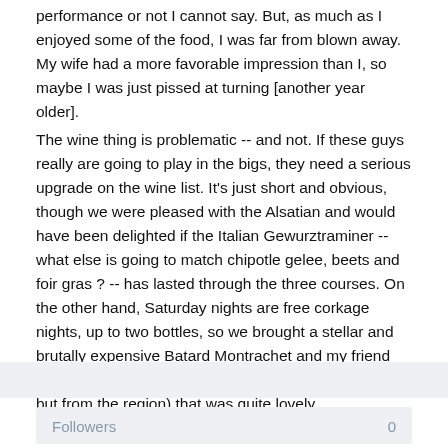performance or not I cannot say. But, as much as I enjoyed some of the food, I was far from blown away. My wife had a more favorable impression than I, so maybe I was just pissed at turning [another year older].
The wine thing is problematic -- and not. If these guys really are going to play in the bigs, they need a serious upgrade on the wine list. It's just short and obvious, though we were pleased with the Alsatian and would have been delighted if the Italian Gewurztraminer -- what else is going to match chipotle gelee, beets and foir gras ? -- has lasted through the three courses. On the other hand, Saturday nights are free corkage nights, up to two bottles, so we brought a stellar and brutally expensive Batard Montrachet and my friend had them decant an '82 Margaux (not the Chateau M. but from the region) that was quite lovely.
[Figure (other): Share button UI element with share icon]
Followers   0